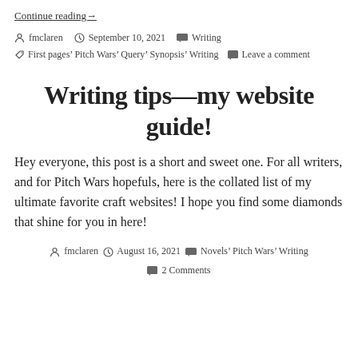Continue reading→
fmclaren   September 10, 2021   Writing   First pages, Pitch Wars, Query, Synopsis, Writing   Leave a comment
Writing tips—my website guide!
Hey everyone, this post is a short and sweet one. For all writers, and for Pitch Wars hopefuls, here is the collated list of my ultimate favorite craft websites! I hope you find some diamonds that shine for you in here!
fmclaren   August 16, 2021   Novels, Pitch Wars, Writing   2 Comments